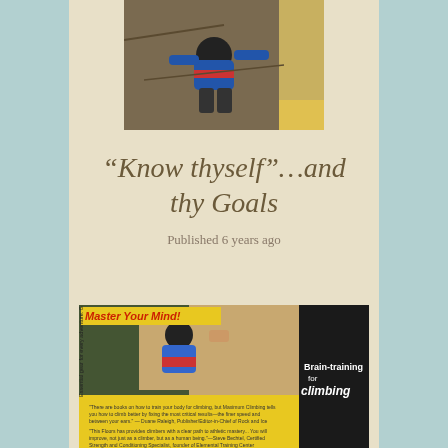[Figure (photo): Rock climber scaling a cliff face, wearing blue shirt, photographed from below]
“Know thyself”…and thy Goals
Published 6 years ago
[Figure (photo): Book cover of 'Brain-training for climbing' with yellow background showing a climber on rock face. Text reads 'Master Your Mind!' and 'Essential gear for every adventure.']